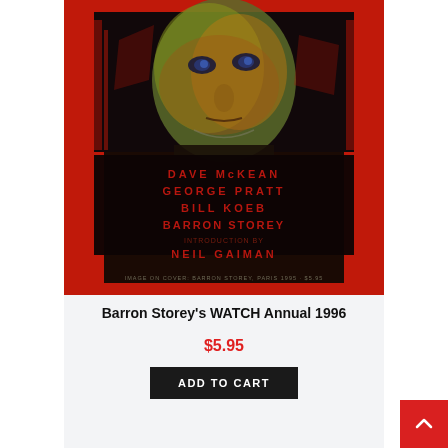[Figure (illustration): Book cover art for Barron Storey's WATCH Annual 1996. Dark illustration with a central figure face staring forward with an otherworldly appearance on a red and black background. Text on the cover lists contributors: DAVE McKEAN, GEORGE PRATT, BILL KOEB, BARRON STOREY, introduction by NEIL GAIMAN.]
Barron Storey's WATCH Annual 1996
$5.95
ADD TO CART